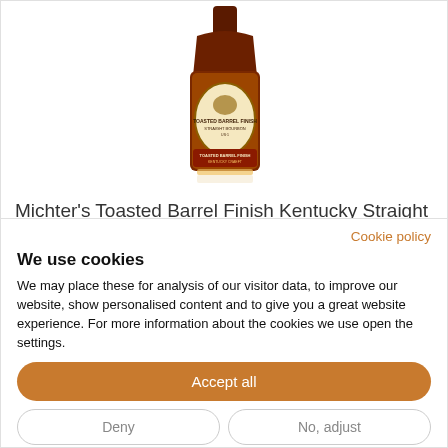[Figure (photo): Michter's Toasted Barrel Finish Kentucky Straight Bourbon Whiskey bottle, showing the label with an eagle logo and text, amber/brown bottle]
Michter's Toasted Barrel Finish Kentucky Straight
Cookie policy
We use cookies
We may place these for analysis of our visitor data, to improve our website, show personalised content and to give you a great website experience. For more information about the cookies we use open the settings.
Accept all
Deny
No, adjust